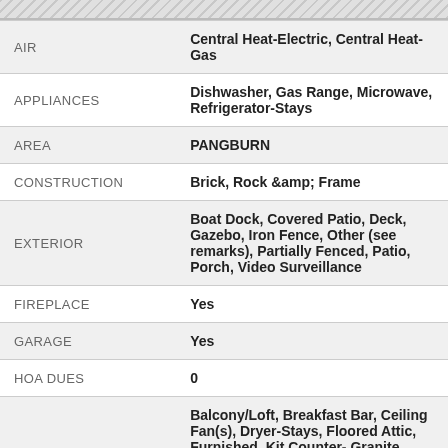| Field | Value |
| --- | --- |
| AIR | Central Heat-Electric, Central Heat-Gas |
| APPLIANCES | Dishwasher, Gas Range, Microwave, Refrigerator-Stays |
| AREA | PANGBURN |
| CONSTRUCTION | Brick, Rock &amp; Frame |
| EXTERIOR | Boat Dock, Covered Patio, Deck, Gazebo, Iron Fence, Other (see remarks), Partially Fenced, Patio, Porch, Video Surveillance |
| FIREPLACE | Yes |
| GARAGE | Yes |
| HOA DUES | 0 |
| INTERIOR | Balcony/Loft, Breakfast Bar, Ceiling Fan(s), Dryer-Stays, Floored Attic, Furnished, Kit Counter- Granite Slab, Security |